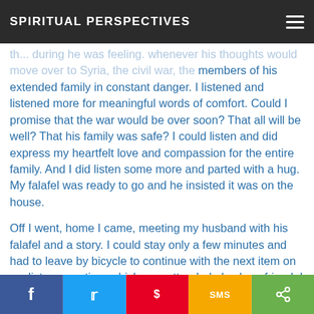SPIRITUAL PERSPECTIVES
th... during he was feeling. Whenever his thoughts would move over to Syria, the civil war, the members of his extended family in constant danger. I listened and listened more for meaningful words of comfort. Could I promise that the war would be over soon? That all will be well? That his family was safe? I could listen and did express my heartfelt love and compassion for the entire family. And I did listen some more and parted with a hug. My falafel was ready to go and he insisted it was on the house.
Off I went, home I came, meeting my husband with his falafel and a story. I could stay only a few minutes and had to leave by bicycle to continue with the next item on my list - a meeting, which was attended also by a friend. I remembered how her
Facebook | Twitter | Pinterest | SMS | Share